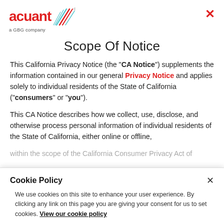[Figure (logo): Acuant logo with red text and geometric lines graphic, labeled 'a GBG company']
Scope Of Notice
This California Privacy Notice (the "CA Notice") supplements the information contained in our general Privacy Notice and applies solely to individual residents of the State of California ("consumers" or "you").
This CA Notice describes how we collect, use, disclose, and otherwise process personal information of individual residents of the State of California, either online or offline, within the scope of the California Consumer Privacy Act of
Cookie Policy
We use cookies on this site to enhance your user experience. By clicking any link on this page you are giving your consent for us to set cookies. View our cookie policy